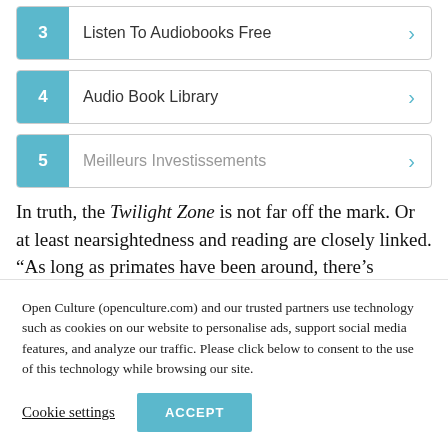3  Listen To Audiobooks Free
4  Audio Book Library
5  Meilleurs Investissements
In truth, the Twilight Zone is not far off the mark. Or at least nearsightedness and reading are closely linked. “As long as primates have been around, there’s
Open Culture (openculture.com) and our trusted partners use technology such as cookies on our website to personalise ads, support social media features, and analyze our traffic. Please click below to consent to the use of this technology while browsing our site.
Cookie settings   ACCEPT